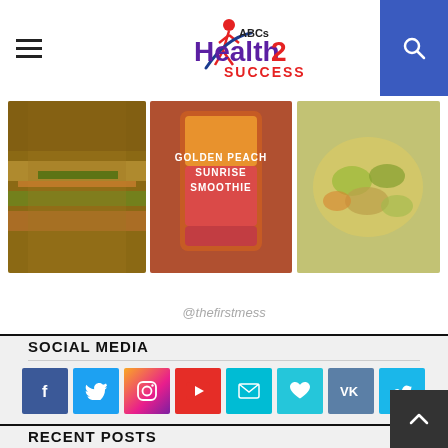ABCs Health2 Success
[Figure (photo): Three food images: a sandwich/wrap, a Golden Peach Sunrise Smoothie drink, and a salad dish]
@thefirstmess
SOCIAL MEDIA
[Figure (infographic): Row of 8 social media icons: Facebook, Twitter, Instagram, YouTube, Email, Heart/Bloglovin, VK, Vimeo]
RECENT POSTS